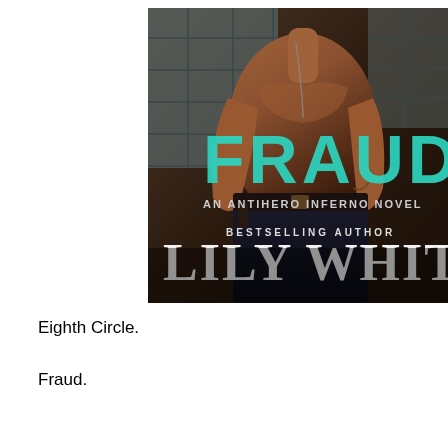[Figure (illustration): Book cover for 'Fraud' by Lily White. Shows a shirtless muscular man seated against a tiled wall background. The title 'FRAUD' is displayed in large teal/cyan letters. Below the title it reads 'AN ANTIHERO INFERNO NOVEL'. The author's name 'LILY WHITE' appears in large white letters at the bottom with 'BESTSELLING AUTHOR' above it.]
Eighth Circle.
Fraud.